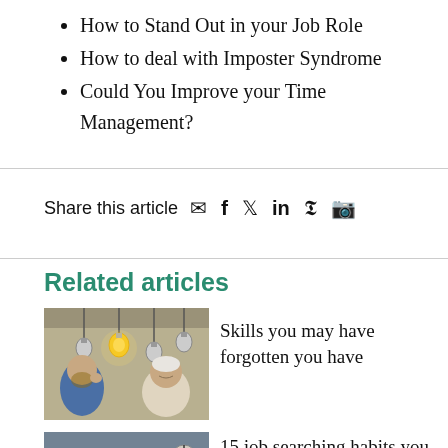How to Stand Out in your Job Role
How to deal with Imposter Syndrome
Could You Improve your Time Management?
Share this article ✉ f 𝕏 in 𝒑 𝕤
Related articles
[Figure (photo): Two men looking upward at hanging light bulbs, one bulb lit yellow, concept of ideas]
Skills you may have forgotten you have
[Figure (photo): Person lying across two chairs in an office or waiting room setting]
15 job searching habits you need to quit if you want success